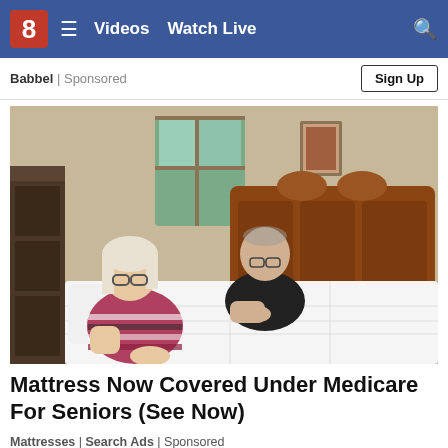8  ≡  Videos  Watch Live  🔍
Babbel | Sponsored   Sign Up
[Figure (photo): An elderly couple standing behind a large white mattress on a wooden bed frame with pine headboard, in a bedroom setting.]
Mattress Now Covered Under Medicare For Seniors (See Now)
Mattresses | Search Ads | Sponsored